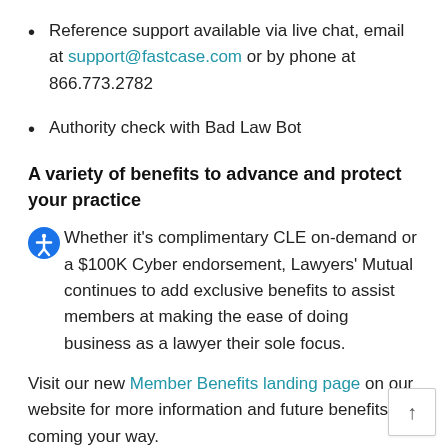Reference support available via live chat, email at support@fastcase.com or by phone at 866.773.2782
Authority check with Bad Law Bot
A variety of benefits to advance and protect your practice
Whether it’s complimentary CLE on-demand or a $100K Cyber endorsement, Lawyers’ Mutual continues to add exclusive benefits to assist members at making the ease of doing business as a lawyer their sole focus.
Visit our new Member Benefits landing page on our website for more information and future benefits coming your way.